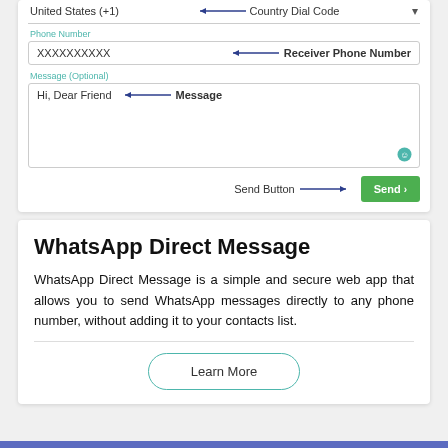[Figure (screenshot): Screenshot of a web form showing Country Dial Code field (United States +1), Phone Number field (XXXXXXXXXX labeled Receiver Phone Number), Message (Optional) field (Hi, Dear Friend labeled Message), and a green Send button labeled Send Button. Arrows point from labels to each field.]
WhatsApp Direct Message
WhatsApp Direct Message is a simple and secure web app that allows you to send WhatsApp messages directly to any phone number, without adding it to your contacts list.
Learn More